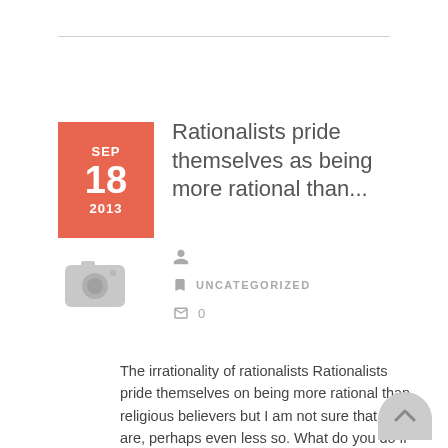Rationalists pride themselves as being more rational than...
SEP 18 2013
UNCATEGORIZED
0
The irrationality of rationalists Rationalists pride themselves on being more rational than religious believers but I am not sure that they are, perhaps even less so.  What do you do if you are faced with a proposition that is highly…